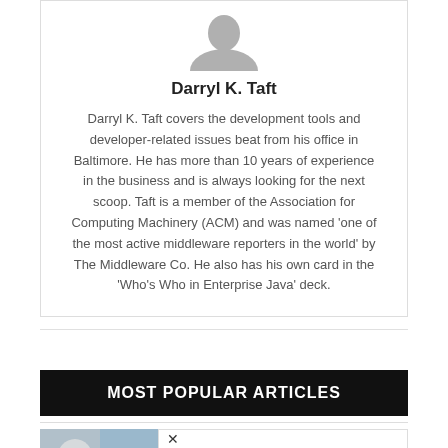[Figure (illustration): Gray silhouette avatar icon of a person (head and shoulders)]
Darryl K. Taft
Darryl K. Taft covers the development tools and developer-related issues beat from his office in Baltimore. He has more than 10 years of experience in the business and is always looking for the next scoop. Taft is a member of the Association for Computing Machinery (ACM) and was named 'one of the most active middleware reporters in the world' by The Middleware Co. He also has his own card in the 'Who’s Who in Enterprise Java' deck.
MOST POPULAR ARTICLES
[Figure (photo): Thumbnail photo of a person]